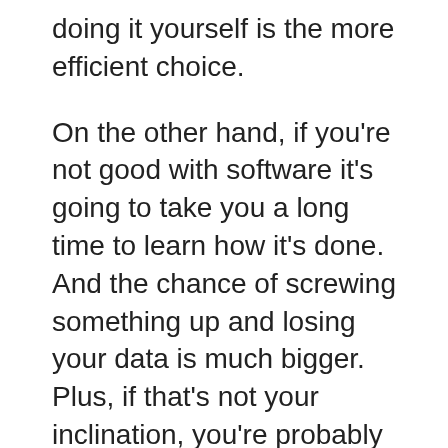doing it yourself is the more efficient choice.
On the other hand, if you're not good with software it's going to take you a long time to learn how it's done. And the chance of screwing something up and losing your data is much bigger. Plus, if that's not your inclination, you're probably going to hate the process. If that's you, clearly the better option is to spend some time looking for an expert and outsourcing it.
The cost efficiency of the outsourcing depends on how much you're earning per hour. If you can outsource the task for less money than you are earning, then it's a no-brainer. You will earn more money simply by doing your main work.